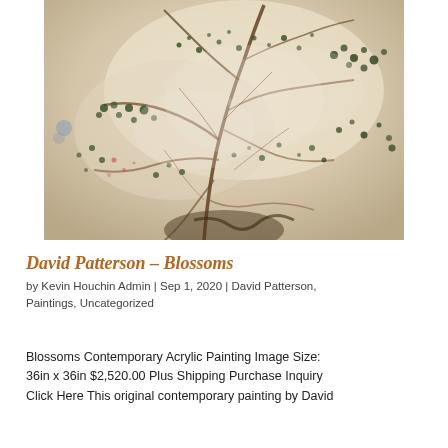[Figure (photo): A contemporary acrylic painting titled 'Blossoms' by David Patterson. The painting shows an abstract view of blossoming tree branches with white, green, and brown tones, viewed from above or close up, with scattered dark spots and delicate branch-like strokes.]
David Patterson – Blossoms
by Kevin Houchin Admin | Sep 1, 2020 | David Patterson, Paintings, Uncategorized
Blossoms Contemporary Acrylic Painting Image Size: 36in x 36in $2,520.00 Plus Shipping Purchase Inquiry Click Here This original contemporary painting by David